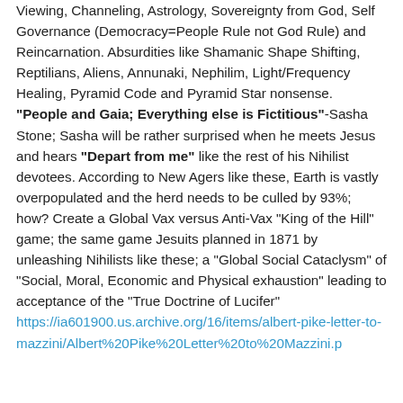Viewing, Channeling, Astrology, Sovereignty from God, Self Governance (Democracy=People Rule not God Rule) and Reincarnation. Absurdities like Shamanic Shape Shifting, Reptilians, Aliens, Annunaki, Nephilim, Light/Frequency Healing, Pyramid Code and Pyramid Star nonsense. "People and Gaia; Everything else is Fictitious"-Sasha Stone; Sasha will be rather surprised when he meets Jesus and hears "Depart from me" like the rest of his Nihilist devotees. According to New Agers like these, Earth is vastly overpopulated and the herd needs to be culled by 93%; how? Create a Global Vax versus Anti-Vax "King of the Hill" game; the same game Jesuits planned in 1871 by unleashing Nihilists like these; a "Global Social Cataclysm" of "Social, Moral, Economic and Physical exhaustion" leading to acceptance of the "True Doctrine of Lucifer" https://ia601900.us.archive.org/16/items/albert-pike-letter-to-mazzini/Albert%20Pike%20Letter%20to%20Mazzini...